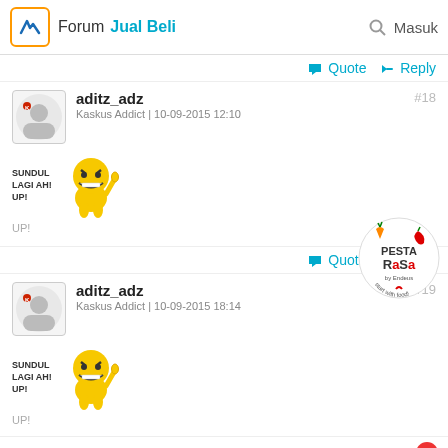Forum Jual Beli  Masuk
Quote  Reply
aditz_adz
Kaskus Addict | 10-09-2015 12:10  #18
[Figure (illustration): Sticker of yellow smiley emoji with thumbs up and text SUNDUL LAGI AH! UP!, below it text UP!]
Quote  Reply
aditz_adz
Kaskus Addict | 10-09-2015 18:14  #19
[Figure (illustration): Pesta Rasa by Endeus logo - circular badge with vegetables]
[Figure (illustration): Sticker of yellow smiley emoji with thumbs up and text SUNDUL LAGI AH! UP!, below it text UP!]
Quote  Reply